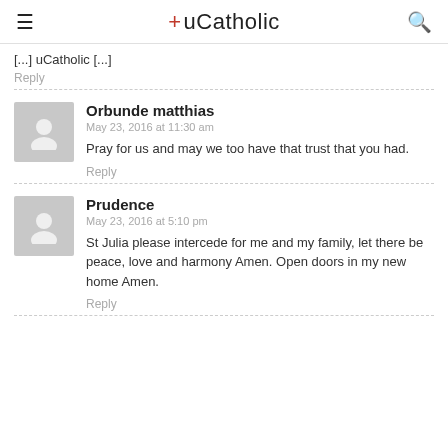+ uCatholic
[...] uCatholic [...]
Reply
Orbunde matthias
May 23, 2016 at 11:30 am
Pray for us and may we too have that trust that you had.
Reply
Prudence
May 23, 2016 at 5:10 pm
St Julia please intercede for me and my family, let there be peace, love and harmony Amen. Open doors in my new home Amen.
Reply